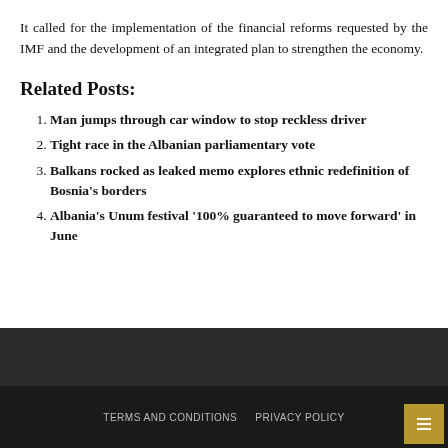It called for the implementation of the financial reforms requested by the IMF and the development of an integrated plan to strengthen the economy.
Related Posts:
Man jumps through car window to stop reckless driver
Tight race in the Albanian parliamentary vote
Balkans rocked as leaked memo explores ethnic redefinition of Bosnia's borders
Albania's Unum festival '100% guaranteed to move forward' in June
TERMS AND CONDITIONS   PRIVACY POLICY